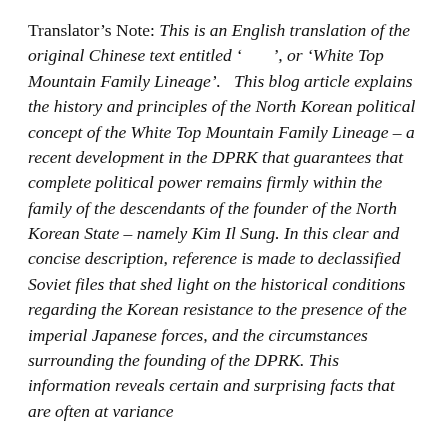Translator's Note: This is an English translation of the original Chinese text entitled '        ', or 'White Top Mountain Family Lineage'. This blog article explains the history and principles of the North Korean political concept of the White Top Mountain Family Lineage – a recent development in the DPRK that guarantees that complete political power remains firmly within the family of the descendants of the founder of the North Korean State – namely Kim Il Sung. In this clear and concise description, reference is made to declassified Soviet files that shed light on the historical conditions regarding the Korean resistance to the presence of the imperial Japanese forces, and the circumstances surrounding the founding of the DPRK. This information reveals certain and surprising facts that are often at variance